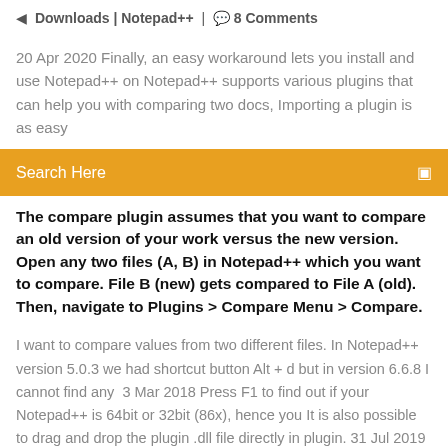Downloads | Notepad++  |  8 Comments
20 Apr 2020 Finally, an easy workaround lets you install and use Notepad++ on Notepad++ supports various plugins that can help you with comparing two docs, Importing a plugin is as easy
Search Here
The compare plugin assumes that you want to compare an old version of your work versus the new version. Open any two files (A, B) in Notepad++ which you want to compare. File B (new) gets compared to File A (old). Then, navigate to Plugins > Compare Menu > Compare.
I want to compare values from two different files. In Notepad++ version 5.0.3 we had shortcut button Alt + d but in version 6.6.8 I cannot find any  3 Mar 2018 Press F1 to find out if your Notepad++ is 64bit or 32bit (86x), hence you It is also possible to drag and drop the plugin .dll file directly in plugin. 31 Jul 2019